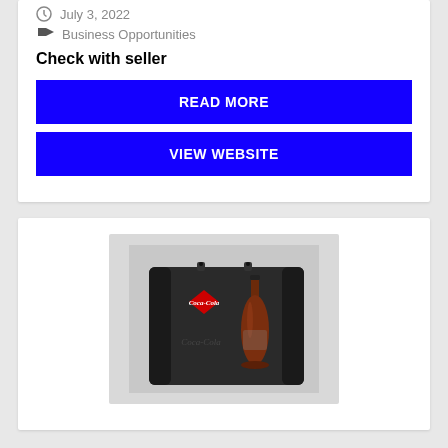July 3, 2022
Business Opportunities
Check with seller
READ MORE
VIEW WEBSITE
[Figure (photo): A Coca-Cola branded pop-up display stand / booth backdrop with dark background, Coca-Cola logo and a Coca-Cola bottle illustrated on it. The stand has metal connectors at the top.]